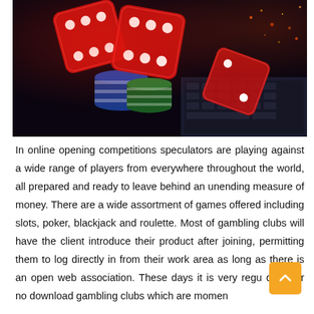[Figure (photo): Casino dice and poker chips on a laptop keyboard with sparkling lights in the background. Red translucent dice and colorful poker chips (blue, green) are arranged on a dark surface.]
In online opening competitions speculators are playing against a wide range of players from everywhere throughout the world, all prepared and ready to leave behind an unending measure of money. There are a wide assortment of games offered including slots, poker, blackjack and roulette. Most of gambling clubs will have the client introduce their product after joining, permitting them to log directly in from their work area as long as there is an open web association. These days it is very regu discover no download gambling clubs which are momen